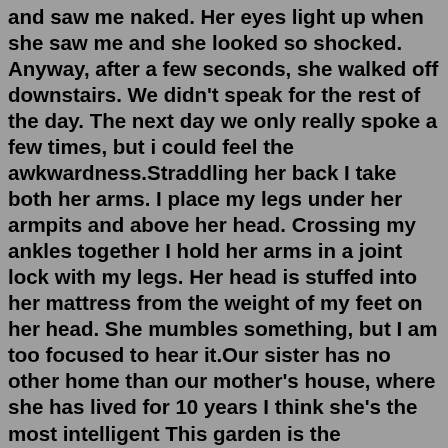and saw me naked. Her eyes light up when she saw me and she looked so shocked. Anyway, after a few seconds, she walked off downstairs. We didn't speak for the rest of the day. The next day we only really spoke a few times, but i could feel the awkwardness.Straddling her back I take both her arms. I place my legs under her armpits and above her head. Crossing my ankles together I hold her arms in a joint lock with my legs. Her head is stuffed into her mattress from the weight of my feet on her head. She mumbles something, but I am too focused to hear it.Our sister has no other home than our mother's house, where she has lived for 10 years I think she's the most intelligent This garden is the (beautiful) in our town more many most a few My little sister is like a mirror image of me My little sister is like a mirror image of me. When I was sixteen and my sister was thirteen, we went through a ...My sister, who I believe is a narcissist, DOES have feelings and concerns that are genuine, yes, but they only revolve around topics that are meaningful to her, i.e. the